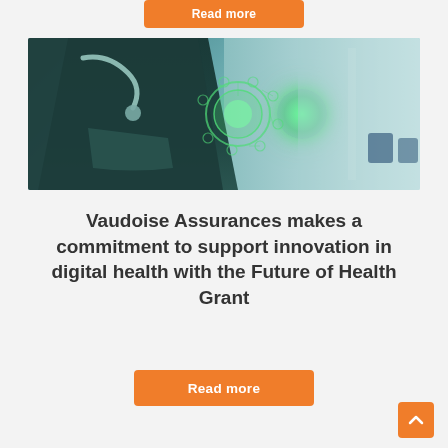Read more
[Figure (photo): A doctor in dark scrubs wearing a stethoscope and blue gloves, touching a glowing digital health interface hologram, with a hospital hallway in the background. Teal/blue color tone overlay.]
Vaudoise Assurances makes a commitment to support innovation in digital health with the Future of Health Grant
Read more